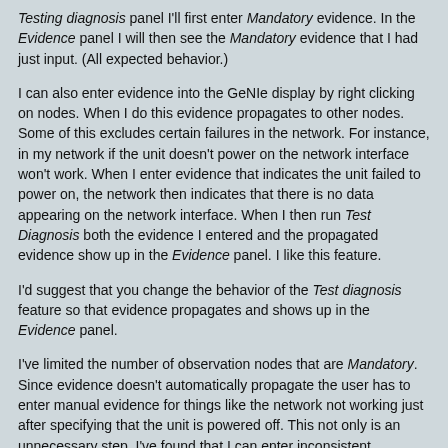Testing diagnosis panel I'll first enter Mandatory evidence. In the Evidence panel I will then see the Mandatory evidence that I had just input. (All expected behavior.)
I can also enter evidence into the GeNIe display by right clicking on nodes. When I do this evidence propagates to other nodes. Some of this excludes certain failures in the network. For instance, in my network if the unit doesn't power on the network interface won't work. When I enter evidence that indicates the unit failed to power on, the network then indicates that there is no data appearing on the network interface. When I then run Test Diagnosis both the evidence I entered and the propagated evidence show up in the Evidence panel. I like this feature.
I'd suggest that you change the behavior of the Test diagnosis feature so that evidence propagates and shows up in the Evidence panel.
I've limited the number of observation nodes that are Mandatory. Since evidence doesn't automatically propagate the user has to enter manual evidence for things like the network not working just after specifying that the unit is powered off. This not only is an unnecessary step, I've found that I can enter inconsistent evidence. In the Test diagnosis panel I can specify that the network interface is working when the unit is powered off.
In the GeNIe window I can't do that. If I enter evidence that the unit is powered off it propagates evidence that the network is not working. If I